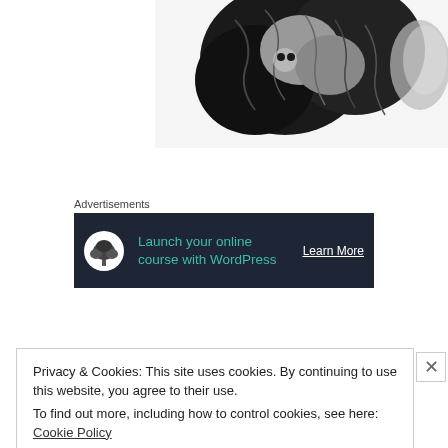[Figure (illustration): Black and white ink art illustration, partially visible, showing an abstract or creature-like figure with detailed textures and patterns]
Advertisements
[Figure (other): Dark navy advertisement banner reading 'Launch your online course with WordPress' with a bonsai tree logo icon and 'Learn More' call-to-action link]
Privacy & Cookies: This site uses cookies. By continuing to use this website, you agree to their use.
To find out more, including how to control cookies, see here: Cookie Policy
Close and accept